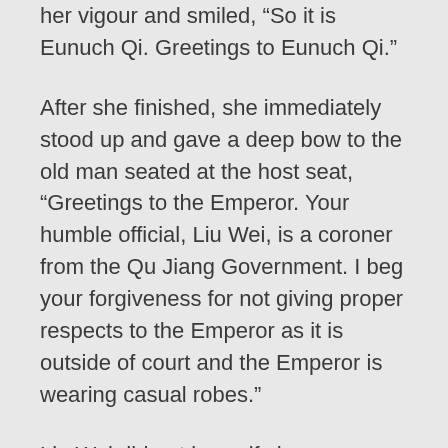her vigour and smiled, “So it is Eunuch Qi. Greetings to Eunuch Qi.”
After she finished, she immediately stood up and gave a deep bow to the old man seated at the host seat, “Greetings to the Emperor. Your humble official, Liu Wei, is a coroner from the Qu Jiang Government. I beg your forgiveness for not giving proper respects to the Emperor as it is outside of court and the Emperor is wearing casual robes.”
Liu Wei did not know if she was considered too lucky or unlucky to be able to chance upon the Emperor at such a remote and desolate place like the Fu Ping county.